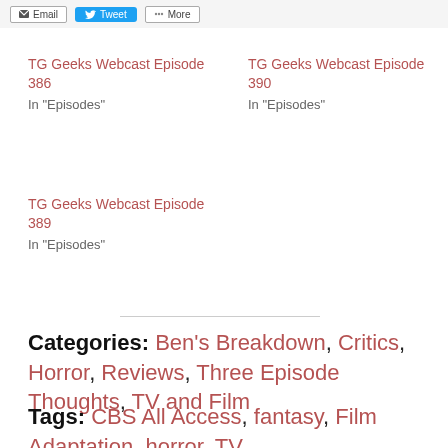[Figure (screenshot): Social sharing buttons: Email, Tweet, More]
TG Geeks Webcast Episode 386
In "Episodes"
TG Geeks Webcast Episode 390
In "Episodes"
TG Geeks Webcast Episode 389
In "Episodes"
Categories: Ben's Breakdown, Critics, Horror, Reviews, Three Episode Thoughts, TV and Film
Tags: CBS All Access, fantasy, Film Adaptation, horror, TV